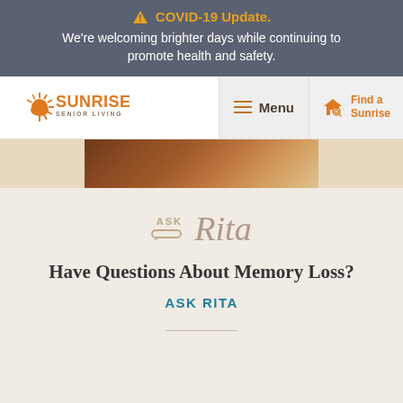COVID-19 Update. We're welcoming brighter days while continuing to promote health and safety.
[Figure (screenshot): Sunrise Senior Living navigation bar with logo, Menu button, and Find a Sunrise button]
[Figure (photo): Partial photo strip showing wooden surface and vintage photographs]
[Figure (logo): Ask Rita logo with speech bubble and italic Rita text]
Have Questions About Memory Loss?
ASK RITA